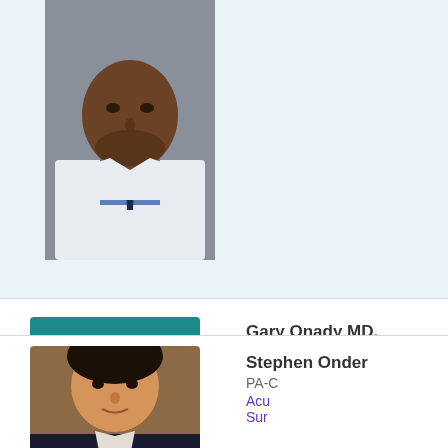[Figure (photo): Partial photo of a doctor in a white coat and blue tie, cropped at chin level, against a gray background.]
[Figure (photo): Photo of Gary Onady MD PhD, an older man with gray hair and mustache wearing a dark suit and tie, against a teal background.]
Gary Onady MD, PhD
Internal Medicine
Primary Care
Hul
Cer
Car
Hub
OH
P: 9
[Figure (photo): Partial photo of Stephen Onder PA-C, cropped, showing head and shoulders against a brown background.]
Stephen Onder
PA-C
Acu
Sur